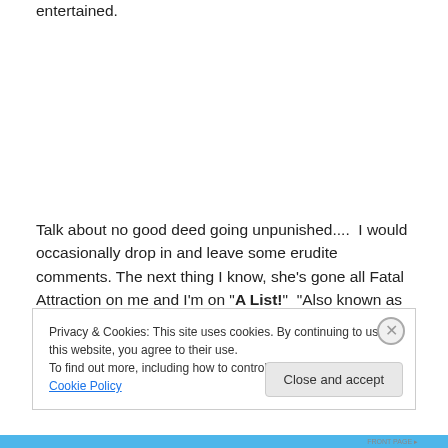entertained.
Talk about no good deed going unpunished....  I would occasionally drop in and leave some erudite comments. The next thing I know, she’s gone all Fatal Attraction on me and I’m on “A List!”  “Also known as – known to police – may be unarmed and dumber than advertised – known associates, Tickle Me Elmo and Bart Simpson.”
Privacy & Cookies: This site uses cookies. By continuing to use this website, you agree to their use.
To find out more, including how to control cookies, see here: Cookie Policy
Close and accept